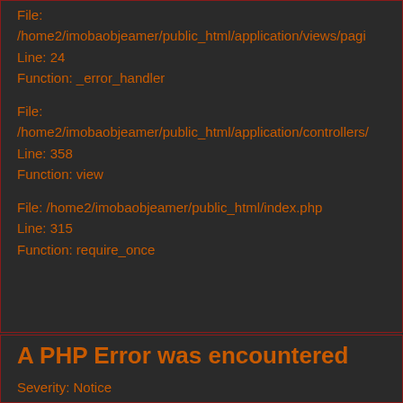File:
/home2/imobaobjeamer/public_html/application/views/pagi
Line: 24
Function: _error_handler
File:
/home2/imobaobjeamer/public_html/application/controllers/
Line: 358
Function: view
File: /home2/imobaobjeamer/public_html/index.php
Line: 315
Function: require_once
A PHP Error was encountered
Severity: Notice
Message: Trying to get property 'titulo' of non-object
Filename: paginas/imovel.php